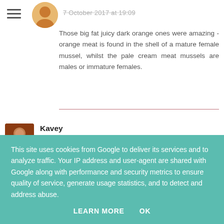7 October 2017 at 19:09
Those big fat juicy dark orange ones were amazing - orange meat is found in the shell of a mature female mussel, whilst the pale cream meat mussels are males or immature females.
Kavey
7 October 2017 at 08:42
I must say, this combination really calls to me, the
This site uses cookies from Google to deliver its services and to analyze traffic. Your IP address and user-agent are shared with Google along with performance and security metrics to ensure quality of service, generate usage statistics, and to detect and address abuse.
LEARN MORE   OK